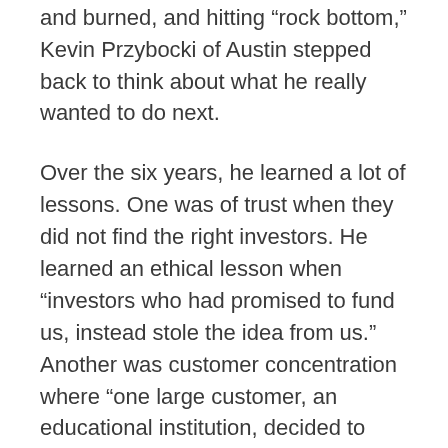start businesses. Being a part of 6 companies in 6 years that crashed and burned, and hitting “rock bottom,” Kevin Przybocki of Austin stepped back to think about what he really wanted to do next.
Over the six years, he learned a lot of lessons. One was of trust when they did not find the right investors. He learned an ethical lesson when “investors who had promised to fund us, instead stole the idea from us.” Another was customer concentration where “one large customer, an educational institution, decided to take what we were providing in-house. Sunk the company.”
Przybocki cites another lesson that